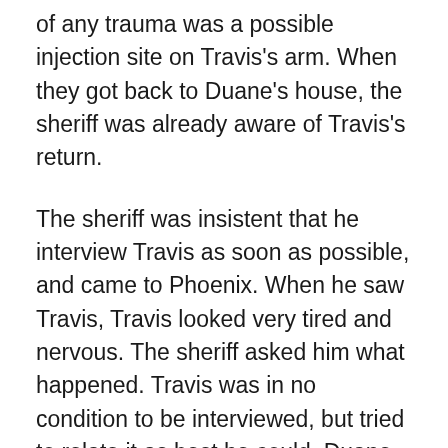of any trauma was a possible injection site on Travis's arm. When they got back to Duane's house, the sheriff was already aware of Travis's return.
The sheriff was insistent that he interview Travis as soon as possible, and came to Phoenix. When he saw Travis, Travis looked very tired and nervous. The sheriff asked him what happened. Travis was in no condition to be interviewed, but tried to relate it as best he could. Duane tried to cover for Travis, telling reporters that he was in a hospital in Tucson. Even the National Enquirer was on Duane's doorstep. In exchange for an exclusive, they were